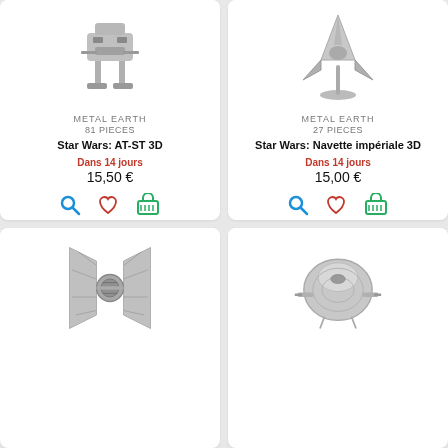[Figure (photo): Metal Earth AT-ST 3D model product photo - silver metallic walker figure on a base]
METAL EARTH
81 PIECES
Star Wars: AT-ST 3D
Dans 14 jours
15,50 €
[Figure (photo): Metal Earth Imperial Shuttle Navette impériale 3D model product photo - silver metallic shuttle on stand]
METAL EARTH
27 PIECES
Star Wars: Navette impériale 3D
Dans 14 jours
15,00 €
[Figure (photo): Metal Earth TIE Fighter 3D model product photo - silver metallic TIE fighter spacecraft]
[Figure (photo): Metal Earth Star Wars spacecraft 3D model product photo - silver metallic rounded spacecraft]